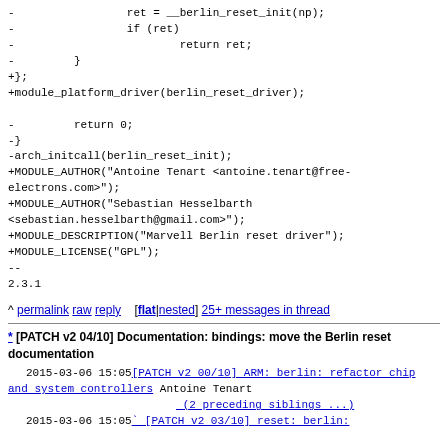-                 ret = __berlin_reset_init(np);
-                 if (ret)
-                         return ret;
-         }
+};
+module_platform_driver(berlin_reset_driver);

-         return 0;
-}
-arch_initcall(berlin_reset_init);
+MODULE_AUTHOR("Antoine Tenart <antoine.tenart@free-electrons.com>");
+MODULE_AUTHOR("Sebastian Hesselbarth <sebastian.hesselbarth@gmail.com>");
+MODULE_DESCRIPTION("Marvell Berlin reset driver");
+MODULE_LICENSE("GPL");
--
2.3.1
^ permalink raw reply   [flat|nested] 25+ messages in thread
* [PATCH v2 04/10] Documentation: bindings: move the Berlin reset documentation
   2015-03-06 15:05 [PATCH v2 00/10] ARM: berlin: refactor chip and system controllers Antoine Tenart
                    (2 preceding siblings ...)
   2015-03-06 15:05 ` [PATCH v2 03/10] reset: berlin: